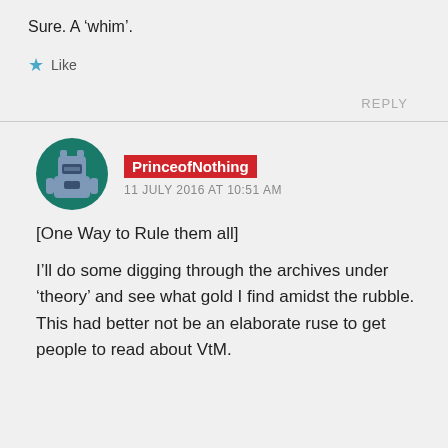Sure. A ‘whim’.
★ Like
REPLY
PrinceofNothing
11 JULY 2016 AT 10:51 AM
[One Way to Rule them all]
I’ll do some digging through the archives under ‘theory’ and see what gold I find amidst the rubble. This had better not be an elaborate ruse to get people to read about VtM.